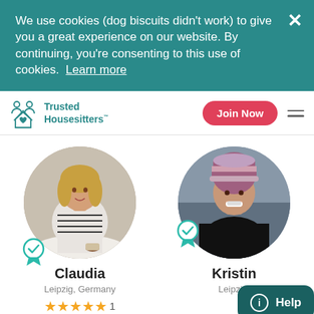We use cookies (dog biscuits didn't work) to give you a great experience on our website. By continuing, you're consenting to this use of cookies. Learn more
[Figure (logo): Trusted Housesitters logo with icons of two people and a house with heart]
Join Now
[Figure (photo): Profile photo of Claudia, woman with blonde hair sitting at a café table, circular crop with verification badge]
[Figure (photo): Profile photo of Kristin, woman wearing a knitted hat outdoors, circular crop with verification badge]
Claudia
Kristin
Leipzig, Germany
Leipzig,
★★★★★ 1
ⓘ Help